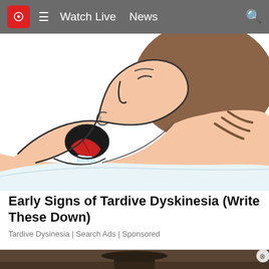10  ≡  Watch Live  News  🔍
[Figure (illustration): Cartoon illustration of a person lying down with mouth open, tongue visible, appearing to drool onto a pillow — depicting symptoms of Tardive Dyskinesia]
Early Signs of Tardive Dyskinesia (Write These Down)
Tardive Dysinesia | Search Ads | Sponsored
[Figure (photo): Partial photo of a person wearing a hat, partially visible at the bottom of the page, with a circular close/X button overlay]